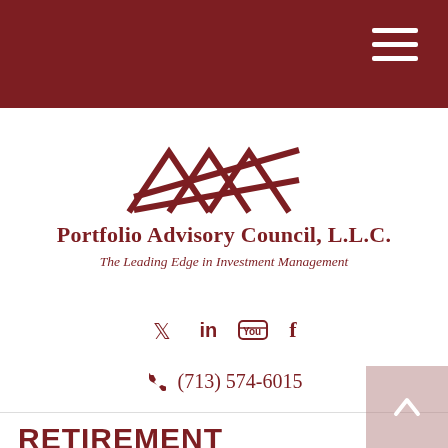[Figure (logo): Portfolio Advisory Council LLC logo — stylized mountain/zigzag line mark above company name]
Portfolio Advisory Council, L.L.C.
The Leading Edge in Investment Management
[Figure (infographic): Social media icons row: Twitter, LinkedIn, YouTube, Facebook]
(713) 574-6015
RETIREMENT
Where will your retirement money come from? If you're like most people, qualified-retirement plans, Social Security,